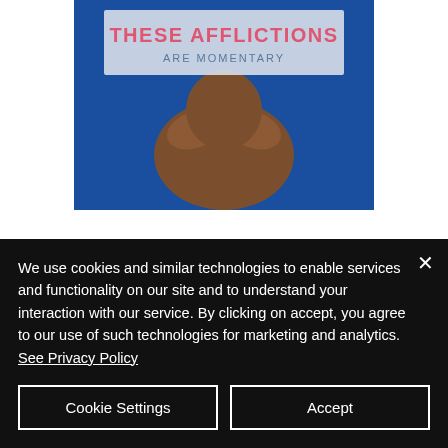[Figure (illustration): Book cover image showing a person with head in hands against a blue background, with text overlay 'THESE AFFLICTIONS ARE MOMENTARY']
These Afflictions are Momentary
We use cookies and similar technologies to enable services and functionality on our site and to understand your interaction with our service. By clicking on accept, you agree to our use of such technologies for marketing and analytics. See Privacy Policy